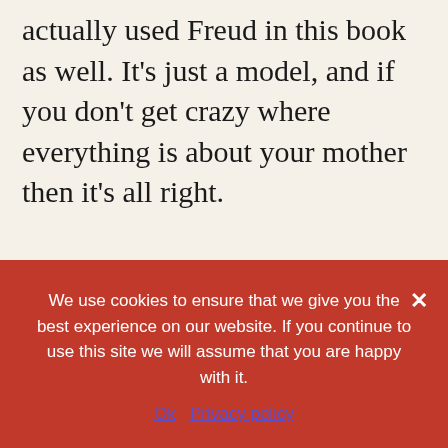actually used Freud in this book as well. It's just a model, and if you don't get crazy where everything is about your mother then it's all right.
We use cookies to ensure that we give you the best experience on our website. If you continue to use this site we will assume that you are happy with it.
Ok   Privacy policy